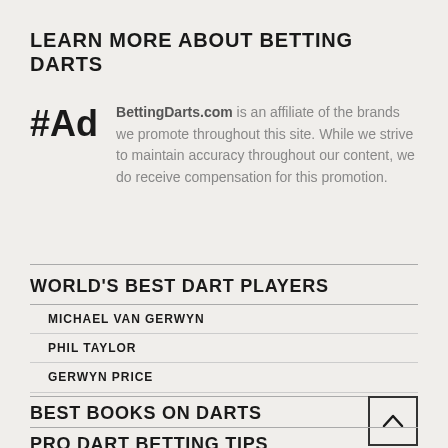LEARN MORE ABOUT BETTING DARTS
#Ad BettingDarts.com is an affiliate of the brands we promote throughout this site. While we strive to maintain accuracy throughout our content, we do receive compensation for this promotion.
WORLD'S BEST DART PLAYERS
MICHAEL VAN GERWYN
PHIL TAYLOR
GERWYN PRICE
BEST BOOKS ON DARTS
PRO DART BETTING TIPS